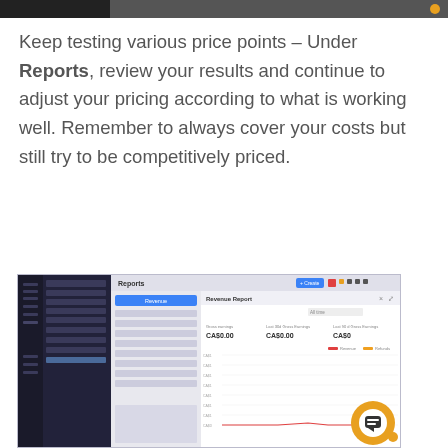Keep testing various price points – Under Reports, review your results and continue to adjust your pricing according to what is working well. Remember to always cover your costs but still try to be competitively priced.
[Figure (screenshot): Screenshot of a software Reports interface showing a Revenue Report with dark sidebar navigation, left panel with menu items including a blue active button, and main content area displaying revenue statistics (CA$0.00 values) and a chart area with red/orange line elements.]